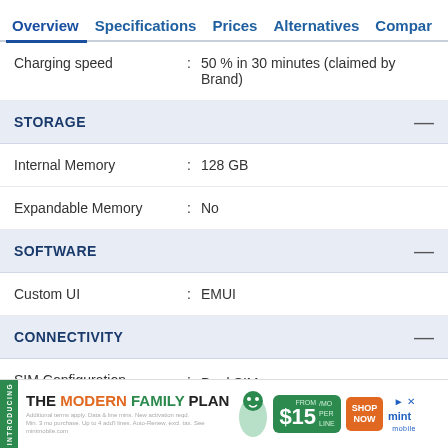Overview | Specifications | Prices | Alternatives | Compar...
Charging speed : 50 % in 30 minutes (claimed by Brand)
STORAGE
Internal Memory : 128 GB
Expandable Memory : No
SOFTWARE
Custom UI : EMUI
CONNECTIVITY
SIM Configuration : Dual SIM
SIM1: Nano
SIM2: Nano
[Figure (infographic): Mint Mobile advertisement banner: THE MODERN FAMILY PLAN from $15/mo per line, SHOP NOW]